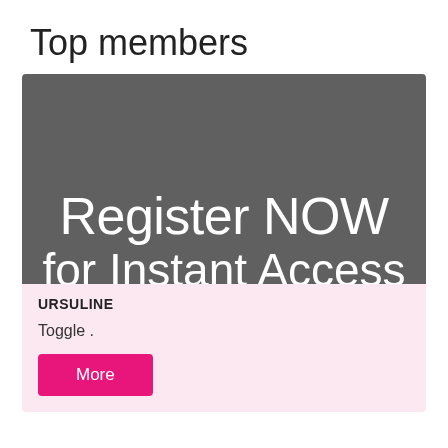Top members
[Figure (screenshot): A dark gray promotional banner image with white text reading 'Register NOW' and below it partially visible text 'for Instant Access']
URSULINE
Toggle .
More